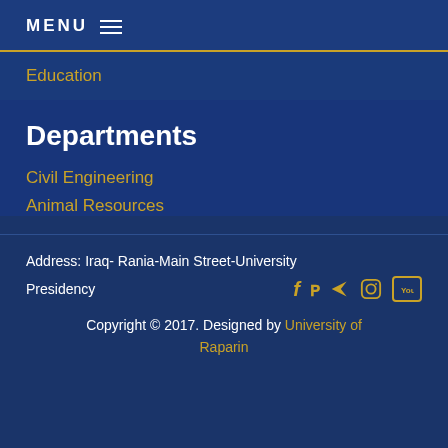MENU
Education
Departments
Civil Engineering
Animal Resources
Address: Iraq- Rania-Main Street-University Presidency
Copyright © 2017. Designed by University of Raparin